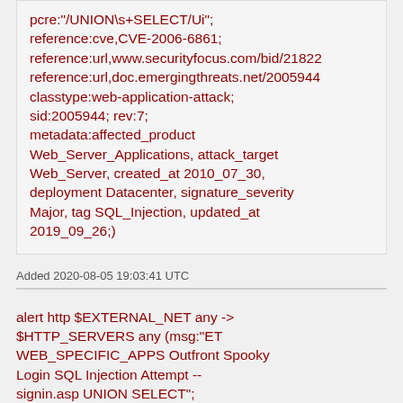pcre:"/UNION\s+SELECT/Ui"; reference:cve,CVE-2006-6861; reference:url,www.securityfocus.com/bid/21822 reference:url,doc.emergingthreats.net/2005944 classtype:web-application-attack; sid:2005944; rev:7; metadata:affected_product Web_Server_Applications, attack_target Web_Server, created_at 2010_07_30, deployment Datacenter, signature_severity Major, tag SQL_Injection, updated_at 2019_09_26;)
Added 2020-08-05 19:03:41 UTC
alert http $EXTERNAL_NET any -> $HTTP_SERVERS any (msg:"ET WEB_SPECIFIC_APPS Outfront Spooky Login SQL Injection Attempt -- signin.asp UNION SELECT";